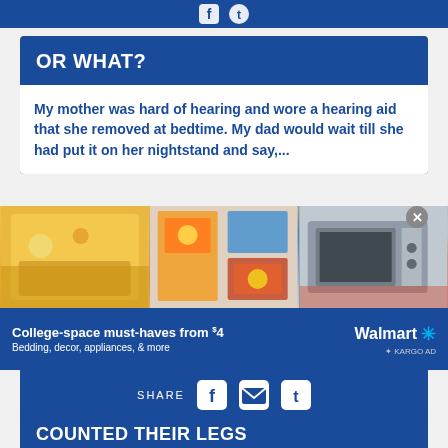[Figure (screenshot): Top blue bar with partial social media icons visible]
OR WHAT?
My mother was hard of hearing and wore a hearing aid that she removed at bedtime. My dad would wait till she had put it on her nightstand and say,...
[Figure (infographic): Walmart advertisement banner: College-space must-haves from $4. Bedding, decor, appliances, & more. Shows images of bedding, wall decor, and a microwave. Walmart logo with spark. KARGO AD label.]
SHARE
COUNTED THEIR LEGS
As my sister and I were counting the cows in a pasture, Dad glanced over at the herd and said...